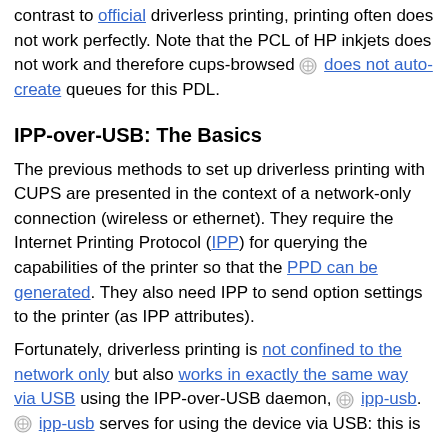contrast to official driverless printing, printing often does not work perfectly. Note that the PCL of HP inkjets does not work and therefore cups-browsed does not auto-create queues for this PDL.
IPP-over-USB: The Basics
The previous methods to set up driverless printing with CUPS are presented in the context of a network-only connection (wireless or ethernet). They require the Internet Printing Protocol (IPP) for querying the capabilities of the printer so that the PPD can be generated. They also need IPP to send option settings to the printer (as IPP attributes).
Fortunately, driverless printing is not confined to the network only but also works in exactly the same way via USB using the IPP-over-USB daemon, ipp-usb. ipp-usb serves for using the device via USB: this is